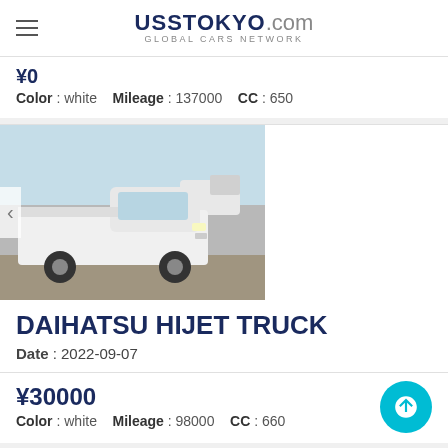UssTokyo.com - Global Cars Network
¥0 | Color: white  Mileage: 137000  CC: 650
[Figure (photo): Photo of a white Daihatsu Hijet Truck in a parking area, front-side view]
DAIHATSU HIJET TRUCK
Date: 2022-09-07
¥30000 | Color: white  Mileage: 98000  CC: 660
[Figure (photo): Photo of a white Daihatsu Hijet Truck in a parking lot, front-side view]
DAIHATSU HIJET TRUCK